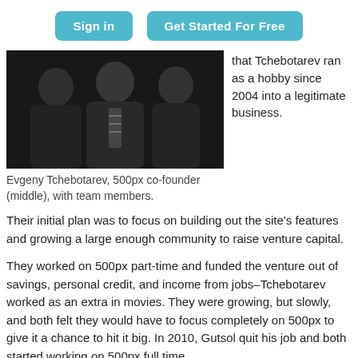Sign in | Get Started For Free
[Figure (photo): Photo of Evgeny Tchebotarev, 500px co-founder (middle), with team members. Three men in dark clothing at what appears to be a social event.]
Evgeny Tchebotarev, 500px co-founder (middle), with team members.
that Tchebotarev ran as a hobby since 2004 into a legitimate business.
Their initial plan was to focus on building out the site's features and growing a large enough community to raise venture capital.
They worked on 500px part-time and funded the venture out of savings, personal credit, and income from jobs–Tchebotarev worked as an extra in movies. They were growing, but slowly, and both felt they would have to focus completely on 500px to give it a chance to hit it big. In 2010, Gutsol quit his job and both started working on 500px full time.
To pay business expenses, they included paid subscription plans